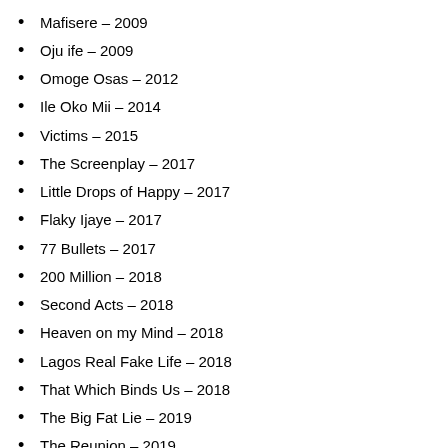Mafisere – 2009
Oju ife – 2009
Omoge Osas – 2012
Ile Oko Mii – 2014
Victims – 2015
The Screenplay – 2017
Little Drops of Happy – 2017
Flaky Ijaye – 2017
77 Bullets – 2017
200 Million – 2018
Second Acts – 2018
Heaven on my Mind – 2018
Lagos Real Fake Life – 2018
That Which Binds Us – 2018
The Big Fat Lie – 2019
The Reunion – 2019